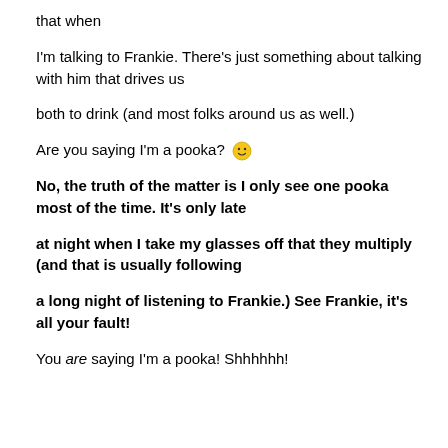that when
I'm talking to Frankie. There's just something about talking with him that drives us
both to drink (and most folks around us as well.)
Are you saying I'm a pooka? 🙂
No, the truth of the matter is I only see one pooka most of the time. It's only late
at night when I take my glasses off that they multiply (and that is usually following
a long night of listening to Frankie.) See Frankie, it's all your fault!
You are saying I'm a pooka! Shhhhhh!